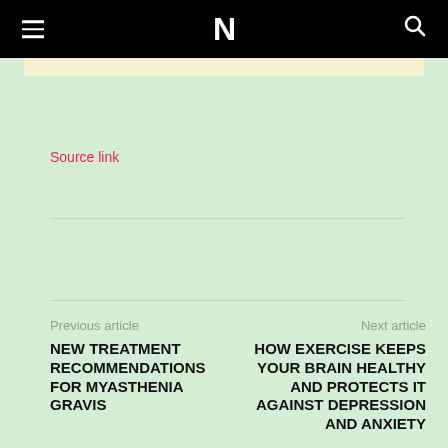N
[Figure (other): Light yellow advertisement banner]
Source link
Previous article
NEW TREATMENT RECOMMENDATIONS FOR MYASTHENIA GRAVIS
Next article
HOW EXERCISE KEEPS YOUR BRAIN HEALTHY AND PROTECTS IT AGAINST DEPRESSION AND ANXIETY